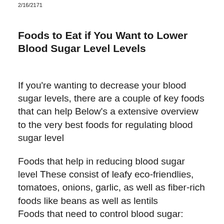2/16/2171
Foods to Eat if You Want to Lower Blood Sugar Level Levels
If you're wanting to decrease your blood sugar levels, there are a couple of key foods that can help Below's a extensive overview to the very best foods for regulating blood sugar level
Foods that help in reducing blood sugar level These consist of leafy eco-friendlies, tomatoes, onions, garlic, as well as fiber-rich foods like beans as well as lentils
Foods that need to control blood sugar: